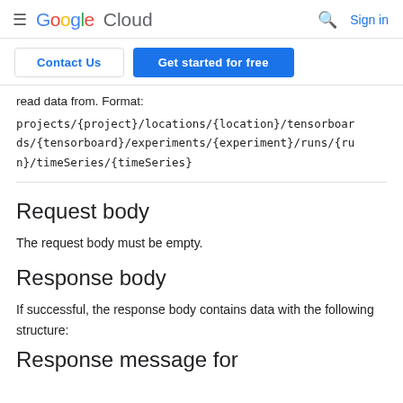Google Cloud — hamburger menu, search, Sign in
Contact Us | Get started for free
read data from. Format:
projects/{project}/locations/{location}/tensorboards/{tensorboard}/experiments/{experiment}/runs/{run}/timeSeries/{timeSeries}
Request body
The request body must be empty.
Response body
If successful, the response body contains data with the following structure:
Response message for